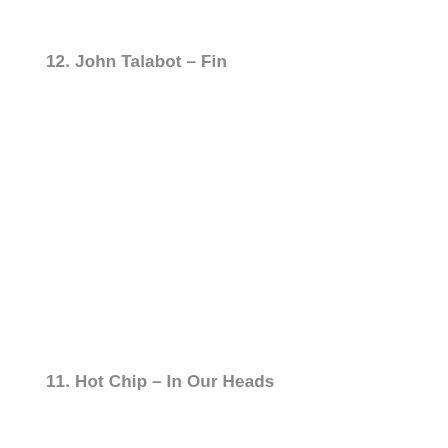12. John Talabot – Fin
11. Hot Chip – In Our Heads